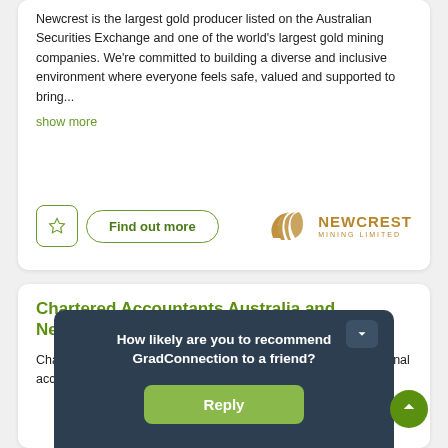Newcrest is the largest gold producer listed on the Australian Securities Exchange and one of the world's largest gold mining companies. We're committed to building a diverse and inclusive environment where everyone feels safe, valued and supported to bring...
show more
[Figure (logo): Newcrest Mining Limited logo — stylized golden arc/wave shape with text NEWCREST MINING LIMITED in gold]
Chartered Accountants Australia and New Zealand
Chart... a profe... financ... day
How likely are you to recommend GradConnection to a friend?
Reply